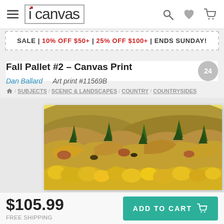iCanvas navigation header with hamburger menu, logo, search, heart, and cart icons
SALE | 10% OFF $50+ | 25% OFF $100+ | ENDS SUNDAY!
Fall Pallet #2 – Canvas Print
Dan Ballard    Art print #11569B
Home / SUBJECTS / SCENIC & LANDSCAPES / COUNTRY / COUNTRYSIDES
[Figure (photo): Aerial or elevated view of a fall autumn hillside landscape with yellow aspen trees, green pines, and colorful foliage covering rolling hills]
$105.99
FREE SHIPPING
ADD TO CART